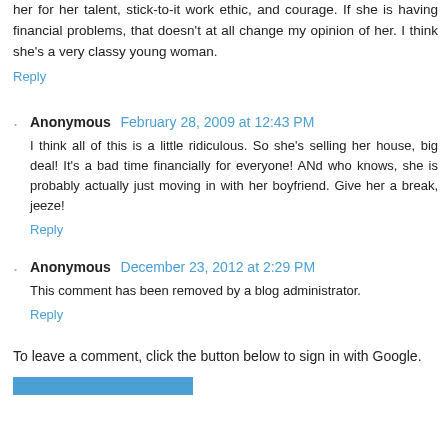her for her talent, stick-to-it work ethic, and courage. If she is having financial problems, that doesn't at all change my opinion of her. I think she's a very classy young woman.
Reply
Anonymous  February 28, 2009 at 12:43 PM
I think all of this is a little ridiculous. So she's selling her house, big deal! It's a bad time financially for everyone! ANd who knows, she is probably actually just moving in with her boyfriend. Give her a break, jeeze!
Reply
Anonymous  December 23, 2012 at 2:29 PM
This comment has been removed by a blog administrator.
Reply
To leave a comment, click the button below to sign in with Google.